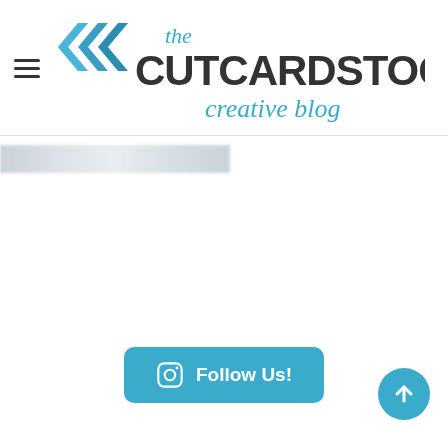[Figure (logo): The CutCardStock creative blog logo with blue chevron arrows and teal italic script text]
[Figure (photo): A blurred/redacted horizontal image strip at the top of the content area]
Follow Us!
[Figure (infographic): Circular teal button with upward arrow for back-to-top navigation]